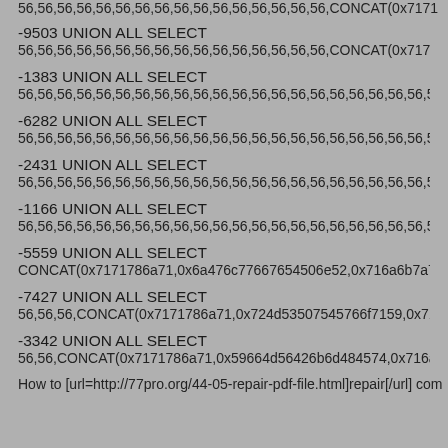56,56,56,56,56,56,56,56,56,56,56,56,56,56,56,56,CONCAT(0x7171...
-9503 UNION ALL SELECT
56,56,56,56,56,56,56,56,56,56,56,56,56,56,56,56,CONCAT(0x7171...
-1383 UNION ALL SELECT
56,56,56,56,56,56,56,56,56,56,56,56,56,56,56,56,56,56,56,56,56...
-6282 UNION ALL SELECT
56,56,56,56,56,56,56,56,56,56,56,56,56,56,56,56,56,56,56,56,56...
-2431 UNION ALL SELECT
56,56,56,56,56,56,56,56,56,56,56,56,56,56,56,56,56,56,56,56,56...
-1166 UNION ALL SELECT
56,56,56,56,56,56,56,56,56,56,56,56,56,56,56,56,56,56,56,56,56...
-5559 UNION ALL SELECT
CONCAT(0x7171786a71,0x6a476c77667654506e52,0x716a6b7a7...
-7427 UNION ALL SELECT
56,56,56,CONCAT(0x7171786a71,0x724d53507545766f7159,0x71...
-3342 UNION ALL SELECT
56,56,CONCAT(0x7171786a71,0x59664d56426b6d484574,0x716a...
How to [url=http://77pro.org/44-05-repair-pdf-file.html]repair[/url] com...